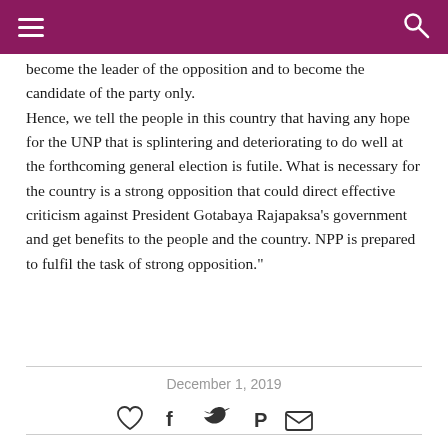Navigation header bar with hamburger menu and search icon
become the leader of the opposition and to become the candidate of the party only.
Hence, we tell the people in this country that having any hope for the UNP that is splintering and deteriorating to do well at the forthcoming general election is futile. What is necessary for the country is a strong opposition that could direct effective criticism against President Gotabaya Rajapaksa's government and get benefits to the people and the country. NPP is prepared to fulfil the task of strong opposition."
December 1, 2019
[Figure (other): Social sharing icons: heart (like), Facebook, Twitter, Pinterest, email]